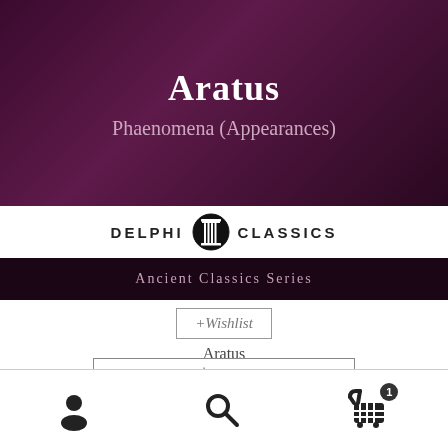[Figure (illustration): Dark purple/maroon hero banner with title 'Aratus' and subtitle 'Phaenomena (Appearances)']
Aratus
Phaenomena (Appearances)
[Figure (logo): Delphi Classics logo with Greek column icon between 'DELPHI' and 'CLASSICS' text]
Ancient Classics Series
+Wishlist
Aratus
$ 1.99
Add to cart
[Figure (screenshot): Bottom navigation bar with user/account icon, search icon, and shopping cart icon with badge showing '1']